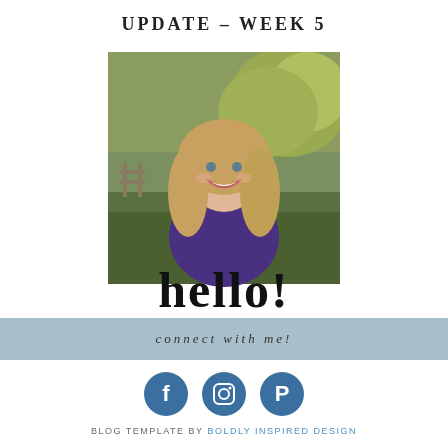UPDATE – WEEK 5
[Figure (photo): Portrait photo of a smiling blonde woman in a purple top, outdoors with greenery background. The word 'hello!' in cursive script overlays the bottom of the image.]
connect with me!
[Figure (infographic): Three circular social media icons: Facebook (f), Instagram (camera/square), Pinterest (P) — all in teal/blue color]
BLOG TEMPLATE BY BOLDLY INSPIRED DESIGN